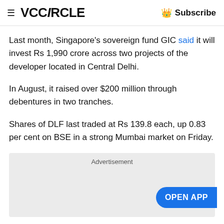VCCiRCLE  Subscribe
Last month, Singapore's sovereign fund GIC said it will invest Rs 1,990 crore across two projects of the developer located in Central Delhi.
In August, it raised over $200 million through debentures in two tranches.
Shares of DLF last traded at Rs 139.8 each, up 0.83 per cent on BSE in a strong Mumbai market on Friday.
[Figure (other): Advertisement box with 'OPEN APP' button]